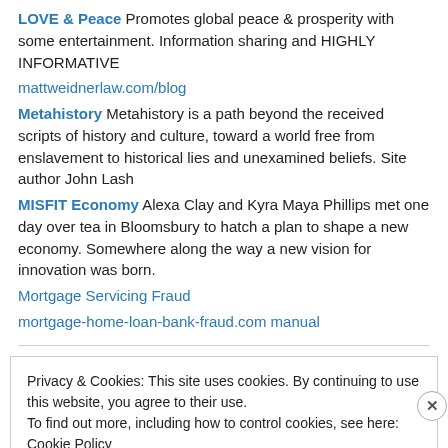LOVE & Peace Promotes global peace & prosperity with some entertainment. Information sharing and HIGHLY INFORMATIVE
mattweidnerlaw.com/blog
Metahistory Metahistory is a path beyond the received scripts of history and culture, toward a world free from enslavement to historical lies and unexamined beliefs. Site author John Lash
MISFIT Economy Alexa Clay and Kyra Maya Phillips met one day over tea in Bloomsbury to hatch a plan to shape a new economy. Somewhere along the way a new vision for innovation was born.
Mortgage Servicing Fraud
mortgage-home-loan-bank-fraud.com manual
Privacy & Cookies: This site uses cookies. By continuing to use this website, you agree to their use. To find out more, including how to control cookies, see here: Cookie Policy
Close and accept